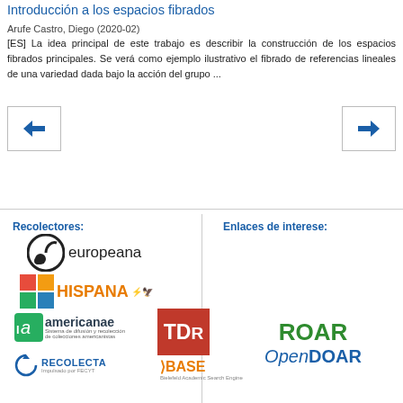Introducción a los espacios fibrados
Arufe Castro, Diego (2020-02)
[ES] La idea principal de este trabajo es describir la construcción de los espacios fibrados principales. Se verá como ejemplo ilustrativo el fibrado de referencias lineales de una variedad dada bajo la acción del grupo ...
[Figure (other): Navigation arrow buttons - left arrow and right arrow]
Recolectores:
Enlaces de interese:
[Figure (logo): Europeana logo]
[Figure (logo): HISPANA logo]
[Figure (logo): americanae logo]
[Figure (logo): TDR logo - red square with white text]
[Figure (logo): RECOLECTA logo]
[Figure (logo): BASE logo]
[Figure (logo): ROAR OpenDOAR logos in green and blue]